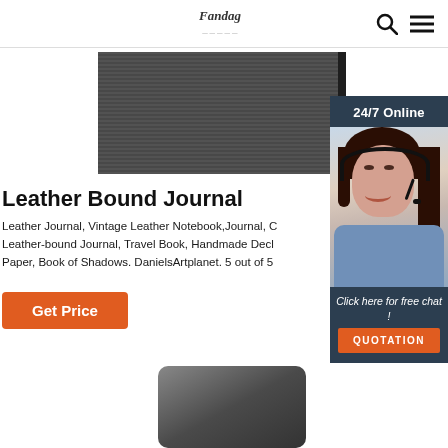Fandag
[Figure (photo): Dark gray textured leather journal product image, top view cropped]
[Figure (photo): 24/7 Online chat widget with woman wearing headset, 'Click here for free chat!' and QUOTATION button]
Leather Bound Journal
Leather Journal, Vintage Leather Notebook,Journal, C Leather-bound Journal, Travel Book, Handmade Decl Paper, Book of Shadows. DanielsArtplanet. 5 out of 5
Get Price
[Figure (photo): Dark gray leather journal product image, bottom partial view]